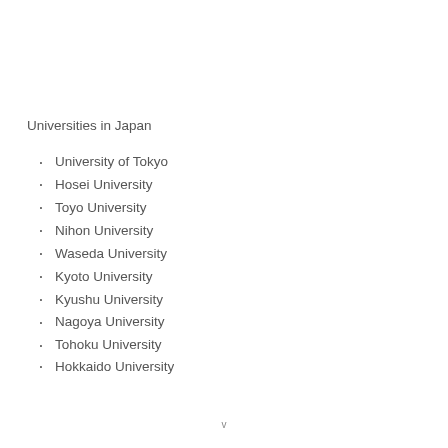Universities in Japan
University of Tokyo
Hosei University
Toyo University
Nihon University
Waseda University
Kyoto University
Kyushu University
Nagoya University
Tohoku University
Hokkaido University
v